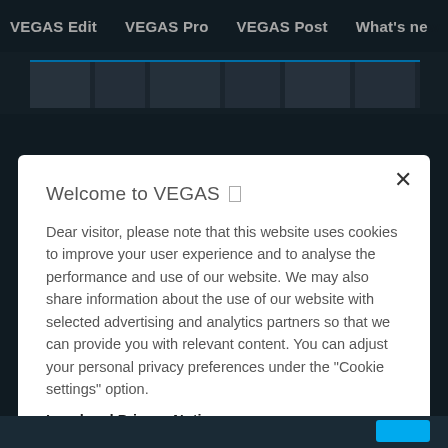VEGAS Edit   VEGAS Pro   VEGAS Post   What's new
[Figure (screenshot): Video timeline strip with thumbnails and blue highlight bar]
Welcome to VEGAS
Dear visitor, please note that this website uses cookies to improve your user experience and to analyse the performance and use of our website. We may also share information about the use of our website with selected advertising and analytics partners so that we can provide you with relevant content. You can adjust your personal privacy preferences under the "Cookie settings" option.
Legal and Privacy Notice
Cookies Settings
OK